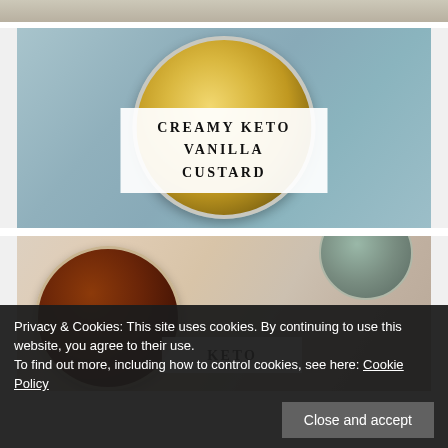[Figure (photo): Partial cropped food image at top of page]
[Figure (photo): Bowl of creamy keto vanilla custard with spices on top, on a blue linen cloth]
CREAMY KETO VANILLA CUSTARD
[Figure (photo): Bowl of dark chocolate keto sauce with another dish partially visible]
KETO
Privacy & Cookies: This site uses cookies. By continuing to use this website, you agree to their use.
To find out more, including how to control cookies, see here: Cookie Policy
Close and accept